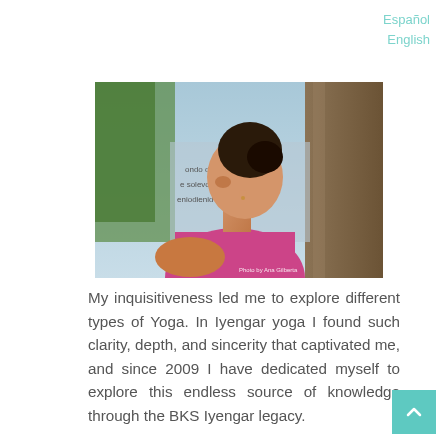Español
English
[Figure (photo): Woman in pink top viewed from behind/side profile, smiling, outdoors near a tree and sign. Photo credit watermark visible.]
My inquisitiveness led me to explore different types of Yoga. In Iyengar yoga I found such clarity, depth, and sincerity that captivated me, and since 2009 I have dedicated myself to explore this endless source of knowledge through the BKS Iyengar legacy.
I have had the fortune to practice and